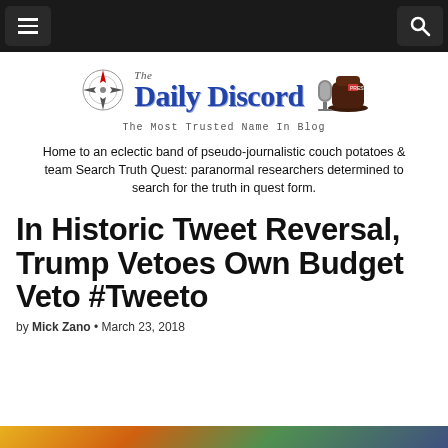Navigation bar with menu and search buttons
[Figure (logo): The Daily Discord logo with compass rose graphic and microphone/hat mascot image, tagline: The Most Trusted Name In Blog]
Home to an eclectic band of pseudo-journalistic couch potatoes & team Search Truth Quest: paranormal researchers determined to search for the truth in quest form.
In Historic Tweet Reversal, Trump Vetoes Own Budget Veto #Tweeto
by Mick Zano • March 23, 2018